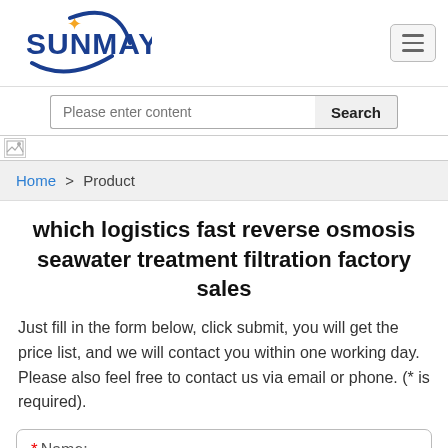[Figure (logo): SUNMAY company logo with orange star and blue circular arc, blue bold text 'SUNMAY']
Please enter content
[Figure (other): Broken image placeholder / banner image at top of content area]
Home > Product
which logistics fast reverse osmosis seawater treatment filtration factory sales
Just fill in the form below, click submit, you will get the price list, and we will contact you within one working day. Please also feel free to contact us via email or phone. (* is required).
* Name: